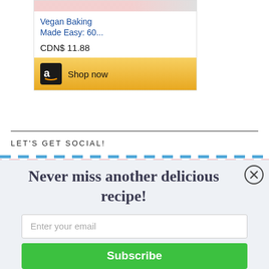[Figure (screenshot): Amazon product card for 'Vegan Baking Made Easy: 60...' priced at CDN$ 11.88 with a 'Shop now' button featuring the Amazon logo]
Vegan Baking Made Easy: 60...
CDN$ 11.88
LET'S GET SOCIAL!
[Figure (screenshot): Email subscription popup with title 'Never miss another delicious recipe!', email input field, and green Subscribe button with a close (X) button]
Never miss another delicious recipe!
Enter your email
Subscribe